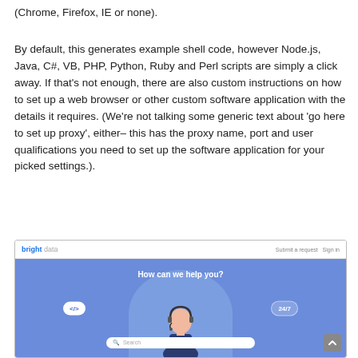(Chrome, Firefox, IE or none).
By default, this generates example shell code, however Node.js, Java, C#, VB, PHP, Python, Ruby and Perl scripts are simply a click away. If that's not enough, there are also custom instructions on how to set up a web browser or other custom software application with the details it requires. (We're not talking some generic text about 'go here to set up proxy', either– this has the proxy name, port and user qualifications you need to set up the software application for your picked settings.).
[Figure (screenshot): Screenshot of the Bright Data help center website showing 'How can we help you?' heading with a support agent avatar, code badge, 24/7 badge, and a search bar.]